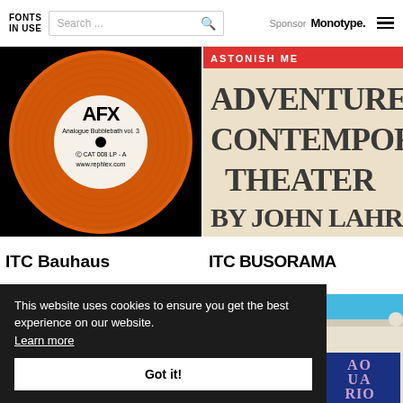FONTS IN USE | Search ... | Sponsor Monotype.
[Figure (photo): Orange vinyl record label for AFX Analogue Bubblebath vol. 3, CAT 008 LP - A, www.rephlex.com, black background]
[Figure (photo): Book cover: Astonish Me - Adventures in Contemporary Theater by John Lahr, beige background with large Art Deco style text, red top bar]
ITC Bauhaus
ITC BUSORAMA
[Figure (photo): Dark photo showing printed materials, partially obscured]
[Figure (photo): Blue sky with white building facade and AO UA RIO text sign]
This website uses cookies to ensure you get the best experience on our website. Learn more
Got it!